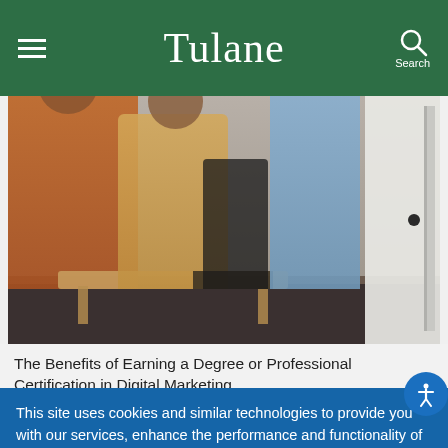Tulane
[Figure (photo): People sitting at a table in a classroom or meeting room setting, with a person standing near a whiteboard on the right side.]
The Benefits of Earning a Degree or Professional Certification in Digital Marketing
This site uses cookies and similar technologies to provide you with our services, enhance the performance and functionality of our services, analyze the use of our products and services, and assist with our advertising and marketing efforts. Privacy Notice GDPR Privacy Policy
ACCEPT  Decline